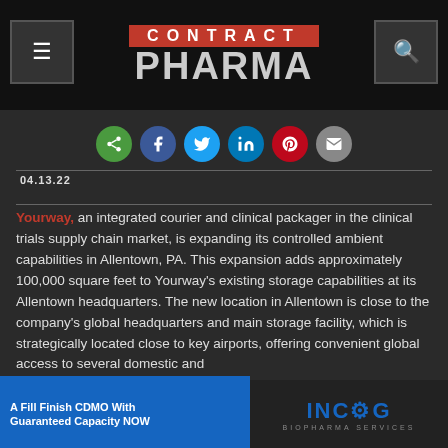CONTRACT PHARMA
[Figure (screenshot): Social sharing icons row: share (green), Facebook (blue), Twitter (light blue), LinkedIn (dark blue), Pinterest (red), Email (gray)]
04.13.22
Yourway, an integrated courier and clinical packager in the clinical trials supply chain market, is expanding its controlled ambient capabilities in Allentown, PA. This expansion adds approximately 100,000 square feet to Yourway's existing storage capabilities at its Allentown headquarters. The new location in Allentown is close to the company's global headquarters and main storage facility, which is strategically located close to key airports, offering convenient global access to several domestic and international solutions.
[Figure (screenshot): Advertisement banner: INCOG Biopharma Services - A Fill Finish CDMO With Guaranteed Capacity NOW]